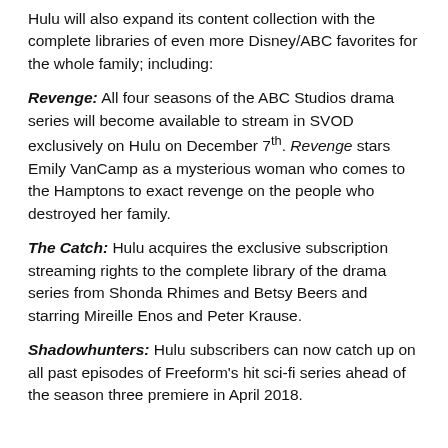Hulu will also expand its content collection with the complete libraries of even more Disney/ABC favorites for the whole family; including:
Revenge: All four seasons of the ABC Studios drama series will become available to stream in SVOD exclusively on Hulu on December 7th. Revenge stars Emily VanCamp as a mysterious woman who comes to the Hamptons to exact revenge on the people who destroyed her family.
The Catch: Hulu acquires the exclusive subscription streaming rights to the complete library of the drama series from Shonda Rhimes and Betsy Beers and starring Mireille Enos and Peter Krause.
Shadowhunters: Hulu subscribers can now catch up on all past episodes of Freeform's hit sci-fi series ahead of the season three premiere in April 2018.